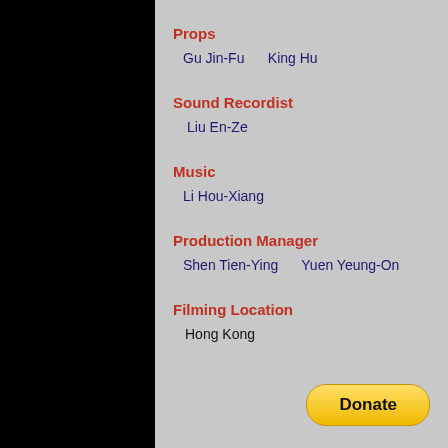Props
Gu Jin-Fu    King Hu
Sound Recordist
Liu En-Ze
Music
Li Hou-Xiang
Production Manager
Shen Tien-Ying    Yuen Yeung-On
Filming Location
Hong Kong
[Figure (other): PayPal Donate button (yellow pill-shaped button with bold 'Donate' text)]